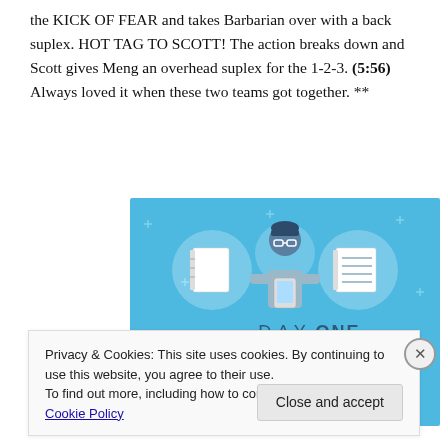the KICK OF FEAR and takes Barbarian over with a back suplex. HOT TAG TO SCOTT! The action breaks down and Scott gives Meng an overhead suplex for the 1-2-3. (5:56) Always loved it when these two teams got together. **
[Figure (illustration): DAY ONE app advertisement. Blue background with illustration of a person holding a phone, flanked by two notebook icons in circles. Text reads 'DAY ONE' and 'The only journaling app you'll ever need.']
Privacy & Cookies: This site uses cookies. By continuing to use this website, you agree to their use.
To find out more, including how to control cookies, see here: Cookie Policy